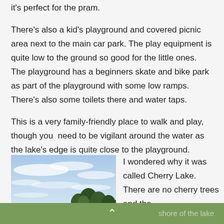it's perfect for the pram.
There's also a kid's playground and covered picnic area next to the main car park. The play equipment is quite low to the ground so good for the little ones. The playground has a beginners skate and bike park as part of the playground with some low ramps. There's also some toilets there and water taps.
This is a very family-friendly place to walk and play, though you need to be vigilant around the water as the lake's edge is quite close to the playground.
[Figure (photo): Outdoor photo showing a bright blue sky with wispy white clouds and a row of dark green trees visible at the bottom right of the image]
I wondered why it was called Cherry Lake. There are no cherry trees and the shore of the lake
^  shore of the lake